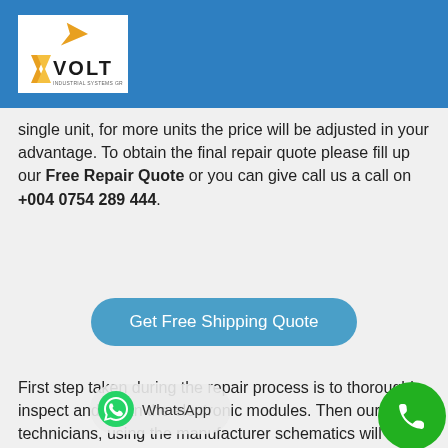[Figure (logo): VOLT Industrial Systems logo — orange V and gold bolt on white background with VOLT text in bold black]
single unit, for more units the price will be adjusted in your advantage. To obtain the final repair quote please fill up our Free Repair Quote or you can give call us a call on +004 0754 289 444.
[Figure (other): Blue rounded button labeled 'Get Free Shipping Quote']
First step taken during the repair process is to thoroughly inspect and clean the electronic modules. Then our technicians, using the manufacturer schematics will determine the cause of the failure of your EMERSON 1683-8006 ES123 unit. After we identify the problematic parts of the module, we continue the troubleshooting down to the component level,